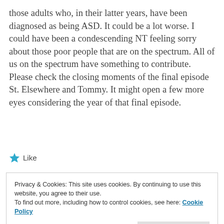those adults who, in their latter years, have been diagnosed as being ASD. It could be a lot worse. I could have been a condescending NT feeling sorry about those poor people that are on the spectrum. All of us on the spectrum have something to contribute. Please check the closing moments of the final episode St. Elsewhere and Tommy. It might open a few more eyes considering the year of that final episode.
★ Like
Privacy & Cookies: This site uses cookies. By continuing to use this website, you agree to their use.
To find out more, including how to control cookies, see here: Cookie Policy
Close and accept